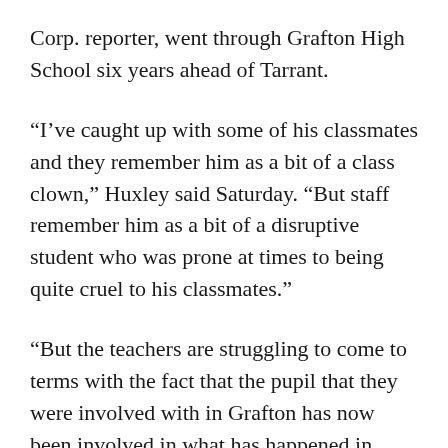Corp. reporter, went through Grafton High School six years ahead of Tarrant.
“I’ve caught up with some of his classmates and they remember him as a bit of a class clown,” Huxley said Saturday. “But staff remember him as a bit of a disruptive student who was prone at times to being quite cruel to his classmates.”
“But the teachers are struggling to come to terms with the fact that the pupil that they were involved with in Grafton has now been involved in what has happened in Christchurch,” Huxley said.